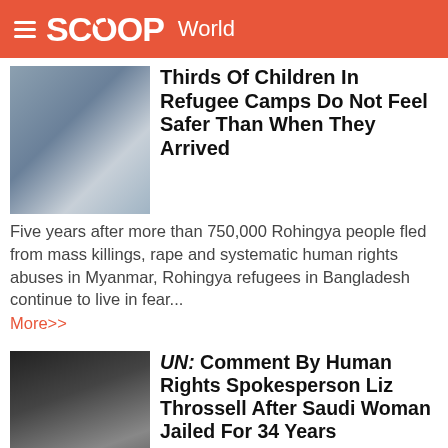SCOOP World
Thirds Of Children In Refugee Camps Do Not Feel Safer Than When They Arrived
Five years after more than 750,000 Rohingya people fled from mass killings, rape and systematic human rights abuses in Myanmar, Rohingya refugees in Bangladesh continue to live in fear...
More>>
UN: Comment By Human Rights Spokesperson Liz Throssell After Saudi Woman Jailed For 34 Years
We are appalled by the sentencing of Saudi doctoral student Salma Al-Shehab to 34 years in jail followed by a 34-year travel ban in connection with a series of tweets and retweets on